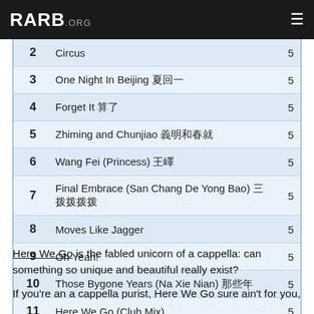RARB.ORG
| # | Title | Score |
| --- | --- | --- |
| 2 | Circus | 5 |
| 3 | One Night In Beijing 一夜北京 | 5 |
| 4 | Forget It 算了 | 5 |
| 5 | Zhiming and Chunjiao 致命和春娇 | 5 |
| 6 | Wang Fei (Princess) 王妃 | 5 |
| 7 | Final Embrace (San Chang De Yong Bao) 三场的拥抱 | 5 |
| 8 | Moves Like Jagger | 5 |
| 9 | Oh Yeah! | 5 |
| 10 | Those Bygone Years (Na Xie Nian) 那些年 | 5 |
| 11 | Here We Go (Club Mix) | 5 |
Here We Go is the fabled unicorn of a cappella: can something so unique and beautiful really exist?
If you're an a cappella purist, Here We Go sure ain't for you,